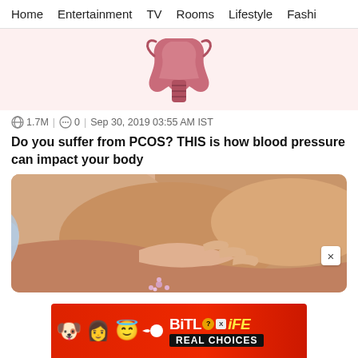Home | Entertainment | TV | Rooms | Lifestyle | Fashi…
[Figure (illustration): Medical illustration of a uterus/cervix on a light pink background]
1.7M | 0 | Sep 30, 2019 03:55 AM IST
Do you suffer from PCOS? THIS is how blood pressure can impact your body
[Figure (photo): Close-up photo of hands touching or massaging skin, warm skin tones]
[Figure (other): Advertisement banner for BitLife mobile game with cartoon emojis on red background, text: REAL CHOICES]